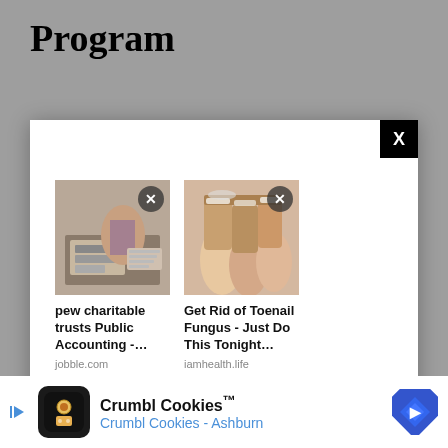Program
[Figure (other): Advertisement modal overlay with two sponsored content cards: 1) 'pew charitable trusts Public Accounting -...' from jobble.com with image of person at desk with calculator, 2) 'Get Rid of Toenail Fungus - Just Do This Tonight...' from iamhealth.life with image of toenails. Modal has X close button. Taboola branding at bottom.]
Julian Robertson, a 1955 graduate of UNC Chapel Hill,
[Figure (other): Crumbl Cookies advertisement banner showing cookie logo icon, text 'Crumbl Cookies™' and 'Crumbl Cookies - Ashburn' with blue diamond navigation arrow icon]